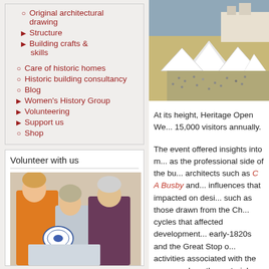Original architectural drawing
Structure
Building crafts & skills
Care of historic homes
Historic building consultancy
Blog
Women's History Group
Volunteering
Support us
Shop
Volunteer with us
[Figure (photo): Three women looking at a blue and white plate]
[Figure (photo): Aerial view of white tents/marquees at a heritage open weekend event near the seafront]
At its height, Heritage Open We... 15,000 visitors annually.
The event offered insights into m... as the professional side of the bu... architects such as C A Busby and... influences that impacted on desi... such as those drawn from the Ch... cycles that affected development... early-1820s and the Great Stop o... activities associated with the con... such as the materials from which... including locally sourced materi...